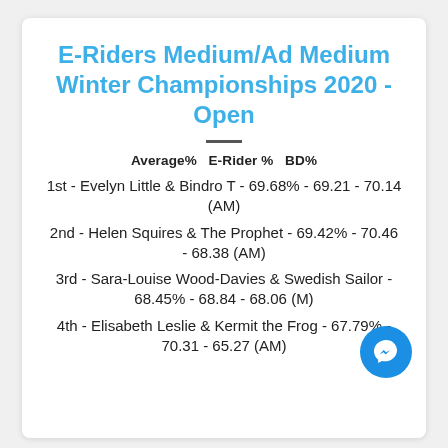E-Riders Medium/Ad Medium Winter Championships 2020 - Open
Average%   E-Rider %   BD%
1st - Evelyn Little & Bindro T - 69.68% - 69.21 - 70.14 (AM)
2nd - Helen Squires & The Prophet - 69.42% - 70.46 - 68.38 (AM)
3rd - Sara-Louise Wood-Davies & Swedish Sailor - 68.45% - 68.84 - 68.06 (M)
4th - Elisabeth Leslie & Kermit the Frog - 67.79% - 70.31 - 65.27 (AM)